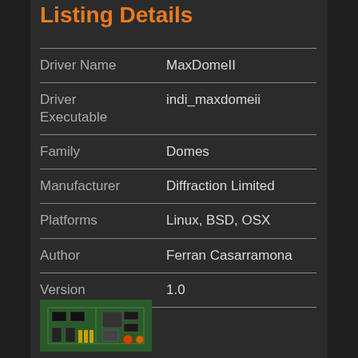Listing Details
| Field | Value |
| --- | --- |
| Driver Name | MaxDomeII |
| Driver Executable | indi_maxdomeii |
| Family | Domes |
| Manufacturer | Diffraction Limited |
| Platforms | Linux, BSD, OSX |
| Author | Ferran Casarramona |
| Version | 1.0 |
[Figure (photo): PCB circuit board photo showing green circuit board with electronic components]